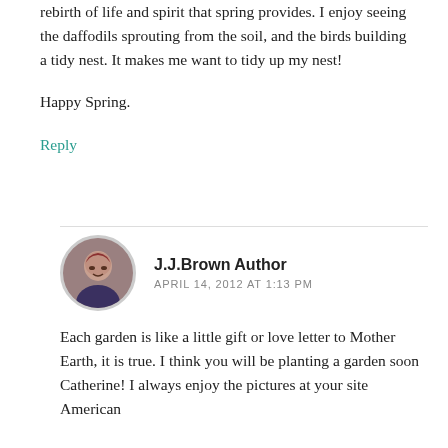rebirth of life and spirit that spring provides. I enjoy seeing the daffodils sprouting from the soil, and the birds building a tidy nest. It makes me want to tidy up my nest!
Happy Spring.
Reply
J.J.Brown Author
APRIL 14, 2012 AT 1:13 PM
Each garden is like a little gift or love letter to Mother Earth, it is true. I think you will be planting a garden soon Catherine! I always enjoy the pictures at your site American